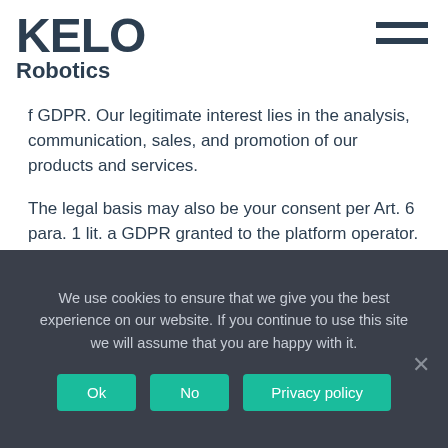KELO Robotics
f GDPR. Our legitimate interest lies in the analysis, communication, sales, and promotion of our products and services.
The legal basis may also be your consent per Art. 6 para. 1 lit. a GDPR granted to the platform operator. Per Art. 7 para. 3 GDPR, you may revoke this consent with the platform operator at any time with future effect.
When accessing our online presence on the Instagram
We use cookies to ensure that we give you the best experience on our website. If you continue to use this site we will assume that you are happy with it.